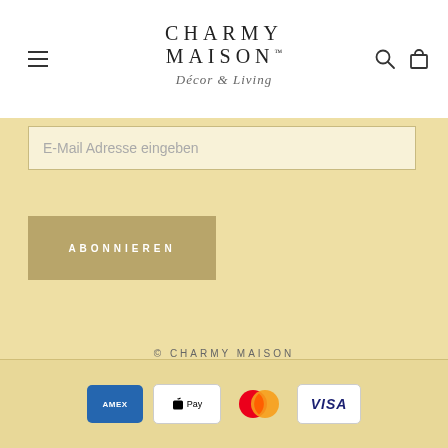CHARMY MAISON Décor & Living
E-Mail Adresse eingeben
ABONNIEREN
© CHARMY MAISON
Powered by Shopify
[Figure (logo): Payment method icons: American Express, Apple Pay, Mastercard, Visa]